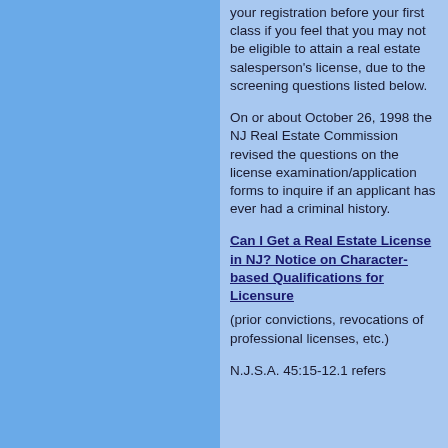your registration before your first class if you feel that you may not be eligible to attain a real estate salesperson's license, due to the screening questions listed below.
On or about October 26, 1998 the NJ Real Estate Commission revised the questions on the license examination/application forms to inquire if an applicant has ever had a criminal history.
Can I Get a Real Estate License in NJ? Notice on Character-based Qualifications for Licensure
(prior convictions, revocations of professional licenses, etc.)
N.J.S.A. 45:15-12.1 refers